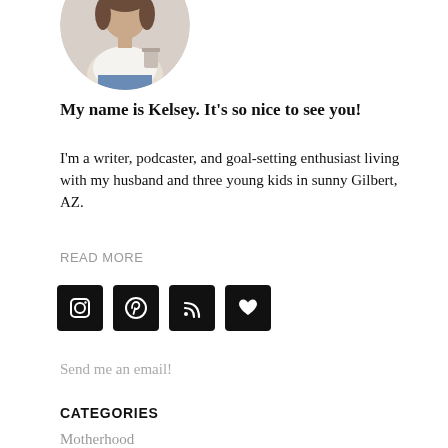[Figure (photo): Circular cropped profile photo of a woman wearing a white top and jeans, holding a cup]
My name is Kelsey. It's so nice to see you!
I'm a writer, podcaster, and goal-setting enthusiast living with my husband and three young kids in sunny Gilbert, AZ.
READ MORE
[Figure (infographic): Four black rounded-square social media icons: Instagram, Pinterest, RSS feed, and heart/bloglovin]
Send me an email!
CATEGORIES
Motherhood
Personal finances